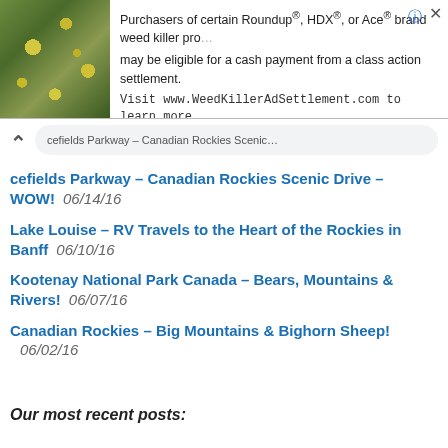[Figure (screenshot): Advertisement banner with photo of yellow flowers on rocks and text about Roundup weed killer class action settlement]
Purchasers of certain Roundup®, HDX®, or Ace® brand weed killer products may be eligible for a cash payment from a class action settlement. Visit www.WeedKillerAdSettlement.com to learn more.
cefields Parkway – Canadian Rockies Scenic Drive – WOW!  06/14/16
Lake Louise – RV Travels to the Heart of the Rockies in Banff  06/10/16
Kootenay National Park Canada – Bears, Mountains & Rivers!  06/07/16
Canadian Rockies – Big Mountains & Bighorn Sheep!  06/02/16
Our most recent posts: